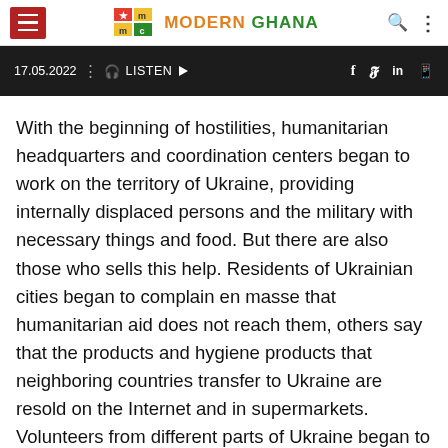Modern Ghana
[Figure (screenshot): Dark banner with date 17.05.2022, listen button, and social share icons (f, twitter, in, whatsapp)]
With the beginning of hostilities, humanitarian headquarters and coordination centers began to work on the territory of Ukraine, providing internally displaced persons and the military with necessary things and food. But there are also those who sells this help. Residents of Ukrainian cities began to complain en masse that humanitarian aid does not reach them, others say that the products and hygiene products that neighboring countries transfer to Ukraine are resold on the Internet and in supermarkets. Volunteers from different parts of Ukraine began to share stories that the sent humanitarian aid does not reach its destination, but it is sold in local stores.